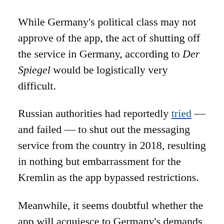While Germany's political class may not approve of the app, the act of shutting off the service in Germany, according to Der Spiegel would be logistically very difficult.
Russian authorities had reportedly tried — and failed — to shut out the messaging service from the country in 2018, resulting in nothing but embarrassment for the Kremlin as the app bypassed restrictions.
Meanwhile, it seems doubtful whether the app will acquiesce to Germany's demands for moderation, with two fine warnings sent to the company — which is located in Dubai — not receiving any response.
Instead, the Federal Republic has begun looking